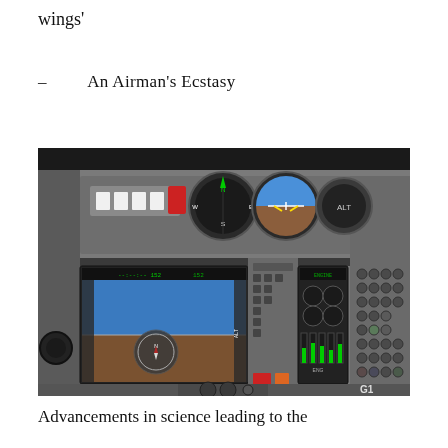wings'
– An Airman's Ecstasy
[Figure (photo): Interior cockpit photo of a small aircraft showing modern avionics with two large glass panel displays (G1000-style), analog instruments at top including compass/HSI and attitude indicator, red and orange switches on lower panel, and rows of buttons on the right side.]
Advancements in science leading to the